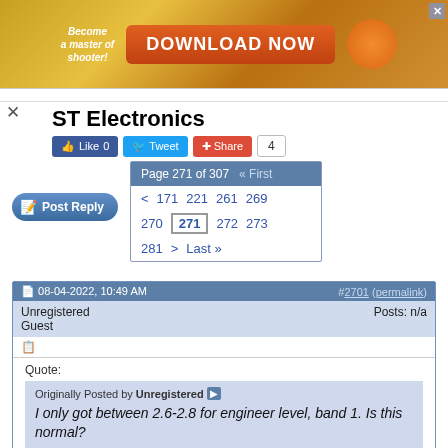[Figure (screenshot): Advertisement banner: 'Become a master of shooter! DOWNLOAD NOW' with orange button and starfish image on gold/orange background]
ST Electronics
[Figure (infographic): Social media buttons: Like 0, Tweet, Share, count 4]
[Figure (screenshot): Pagination: Page 271 of 307, links to First, < 171 221 261 269 270 271 272 273 281 > Last »]
[Figure (screenshot): Post Reply button]
08-04-2022, 10:49 AM   #2701 (permalink)
Unregistered
Guest
Posts: n/a
Quote:
Originally Posted by Unregistered
I only got between 2.6-2.8 for engineer level, band 1. Is this normal?